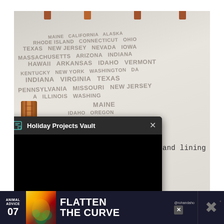[Figure (photo): Photo of a white fabric bag with state names printed all over it in gray lettering (INDIANA, HAWAII, TEXAS, NEW JERSEY, VIRGINIA, MISSOURI, ILLINOIS, WASHINGTON, MAINE, IDAHO, MISSISSIPPI, FLORIDA, etc.). The bag has metal/brown clips at the top edge and an orange-brown zipper visible on the left side. In the lower-left portion of the image, a dark popup dialog overlays the photo titled 'Holiday Projects Vault' with a black content area. To the right of the popup, the text 'zipper and lining' appears in monospace font.]
zipper and lining
[Figure (screenshot): Bottom ad banner: dark navy background. Left side shows 'ANIMAL ADVICE' text and number '07'. Center shows colorful mascot image and large white bold text 'FLATTEN THE CURVE'. Right side shows '@rohandahot' handle with close X button and a stylized X logo with degree symbol.]